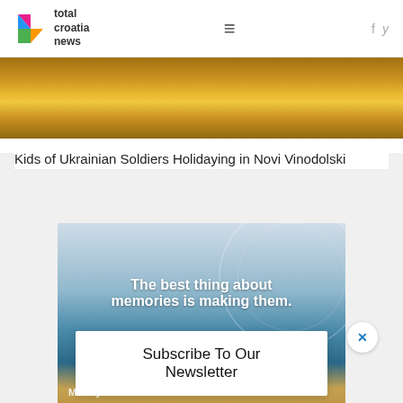[Figure (logo): Total Croatia News logo with colorful C icon and text 'total croatia news']
total croatia news
[Figure (photo): Golden sunset reflection over water, warm orange and golden tones]
Kids of Ukrainian Soldiers Holidaying in Novi Vinodolski
[Figure (photo): Advertisement banner: The best thing about memories is making them. Make your future... Person on boat railing, blue sea and sky]
Subscribe To Our Newsletter